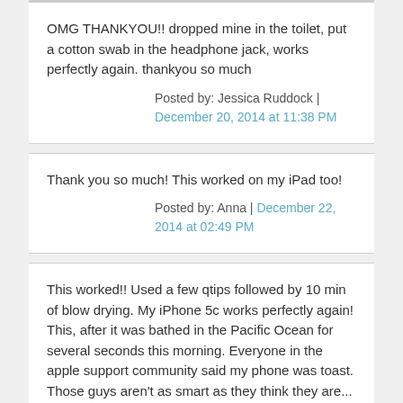OMG THANKYOU!! dropped mine in the toilet, put a cotton swab in the headphone jack, works perfectly again. thankyou so much
Posted by: Jessica Ruddock | December 20, 2014 at 11:38 PM
Thank you so much! This worked on my iPad too!
Posted by: Anna | December 22, 2014 at 02:49 PM
This worked!! Used a few qtips followed by 10 min of blow drying. My iPhone 5c works perfectly again! This, after it was bathed in the Pacific Ocean for several seconds this morning. Everyone in the apple support community said my phone was toast. Those guys aren't as smart as they think they are...
Posted by: Wes | December 24, 2014 at